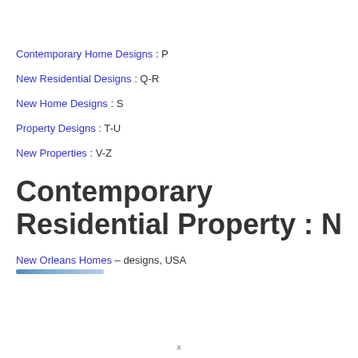Contemporary Home Designs : P
New Residential Designs : Q-R
New Home Designs : S
Property Designs : T-U
New Properties : V-Z
Contemporary Residential Property : N
New Orleans Homes – designs, USA